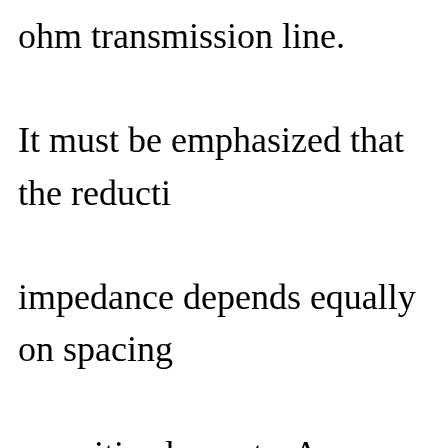ohm transmission line. It must be emphasized that the reduction impedance depends equally on spacing parasitic elements. As a matter of fact, element Yagi can have a higher impedance spaced, three-element Yagi. From a practical standpoint and for mechanical considerations, the cross arm on television usually restricted to a half wave-length